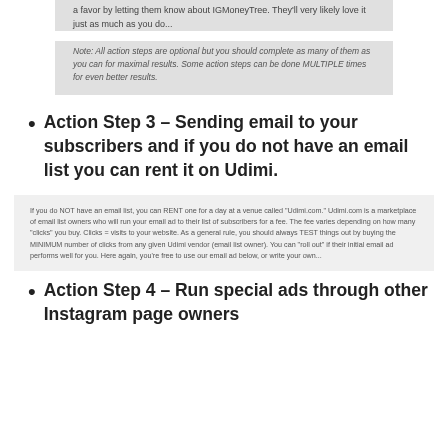a favor by letting them know about IGMoneyTree. They'll very likely love it just as much as you do...
Note: All action steps are optional but you should complete as many of them as you can for maximal results. Some action steps can be done MULTIPLE times for even better results.
Action Step 3 – Sending email to your subscribers and if you do not have an email list you can rent it on Udimi.
If you do NOT have an email list, you can RENT one for a day at a venue called "Udimi.com." Udimi.com is a marketplace of email list owners who will run your email ad to their list of subscribers for a fee. The fee varies depending on how many "clicks" you buy. Clicks = visits to your website. As a general rule, you should always TEST things out by buying the MINIMUM number of clicks from any given Udimi vendor (email list owner). You can "roll out" if their initial email ad performs well for you. Here again, you're free to use our email ad below, or write your own...
Action Step 4 – Run special ads through other Instagram page owners